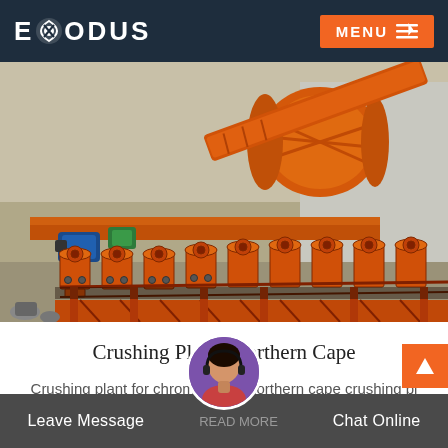EXODUS  MENU
[Figure (photo): Industrial orange crushing plant machinery with ball mill, conveyor, and flotation cells at a mining site in the Northern Cape]
Crushing Plants Northern Cape
Crushing plant for chrome in the northern cape crushing plants for chrome in the northern cape crushing plants are based on
Leave Message  READ MORE  Chat Online